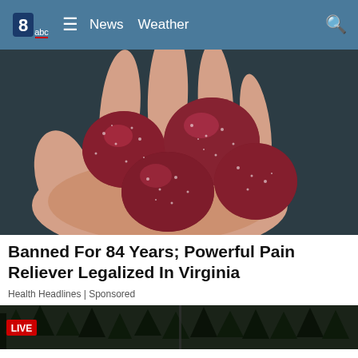8abc  ≡  News  Weather  🔍
[Figure (photo): Close-up photo of a hand holding several red sugar-coated gummy candies against a dark background]
Banned For 84 Years; Powerful Pain Reliever Legalized In Virginia
Health Headlines | Sponsored
[Figure (photo): LIVE news broadcast thumbnail showing trees/forest scene with a LIVE badge in lower left]